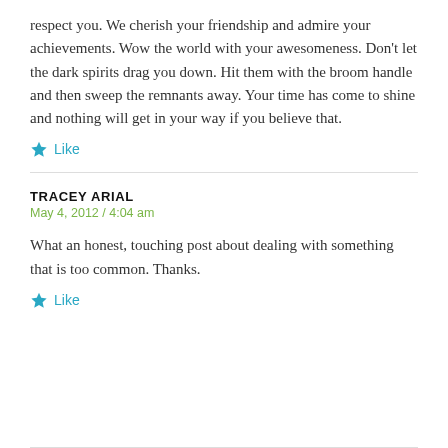respect you. We cherish your friendship and admire your achievements. Wow the world with your awesomeness. Don't let the dark spirits drag you down. Hit them with the broom handle and then sweep the remnants away. Your time has come to shine and nothing will get in your way if you believe that.
Like
TRACEY ARIAL
May 4, 2012 / 4:04 am
What an honest, touching post about dealing with something that is too common. Thanks.
Like